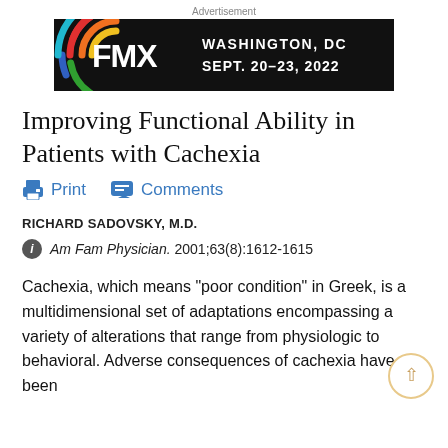Advertisement
[Figure (illustration): FMX advertisement banner: colorful concentric arcs logo on left with 'FMX' text in white, black background, text reads 'WASHINGTON, DC SEPT. 20-23, 2022']
Improving Functional Ability in Patients with Cachexia
Print   Comments
RICHARD SADOVSKY, M.D.
Am Fam Physician. 2001;63(8):1612-1615
Cachexia, which means "poor condition" in Greek, is a multidimensional set of adaptations encompassing a variety of alterations that range from physiologic to behavioral. Adverse consequences of cachexia have been